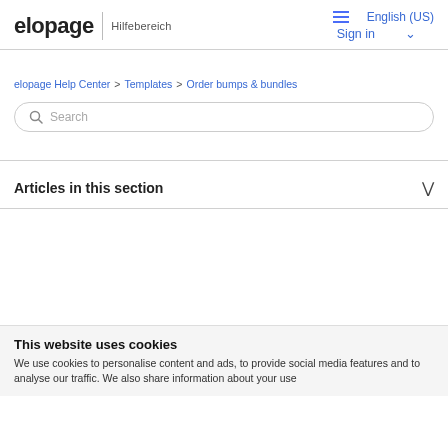elopage | Hilfebereich — Sign in — English (US)
elopage Help Center > Templates > Order bumps & bundles
Search
Articles in this section
This website uses cookies
We use cookies to personalise content and ads, to provide social media features and to analyse our traffic. We also share information about your use